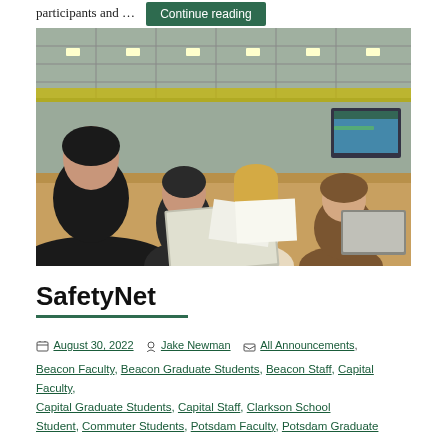participants and … Continue reading
[Figure (photo): Four people (three women and one man) sitting around a wooden table in an industrial-style room with ceiling lights, looking at documents and a laptop. One person in a brown jacket is leaning forward.]
SafetyNet
August 30, 2022   Jake Newman   All Announcements, Beacon Faculty, Beacon Graduate Students, Beacon Staff, Capital Faculty, Capital Graduate Students, Capital Staff, Clarkson School Student, Commuter Students, Potsdam Faculty, Potsdam Graduate